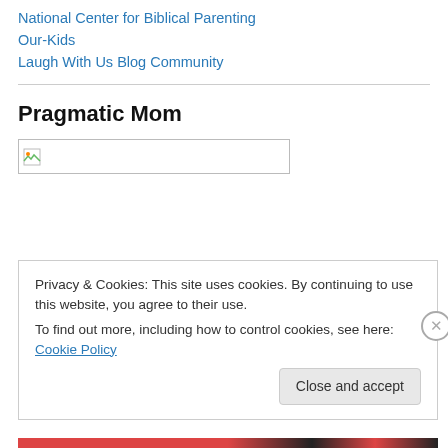National Center for Biblical Parenting
Our-Kids
Laugh With Us Blog Community
Pragmatic Mom
[Figure (other): Broken image placeholder for Pragmatic Mom blog logo]
Privacy & Cookies: This site uses cookies. By continuing to use this website, you agree to their use.
To find out more, including how to control cookies, see here: Cookie Policy
Close and accept